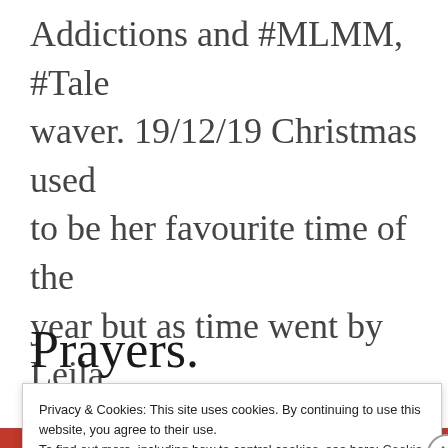Addictions and #MLMM, #Talewaver. 19/12/19 Christmas used to be her favourite time of the year but as time went by Leila had grown to hate the festive
Prayers.
Privacy & Cookies: This site uses cookies. By continuing to use this website, you agree to their use.
To find out more, including how to control cookies, see here: Cookie Policy
Close and accept